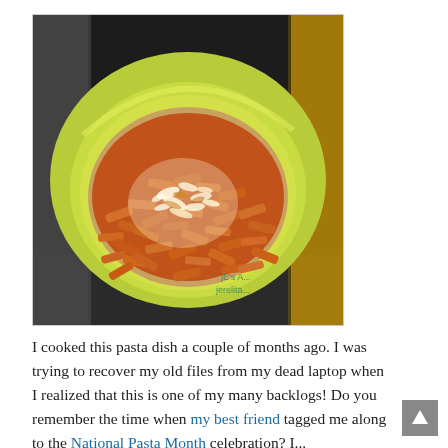[Figure (photo): A bowl of penne pasta in tomato sauce, topped with grated parmesan cheese, served in a lime-green bowl on a dark surface. Watermark text reads 'jE's A...' and 'jerelita...' in the bottom right corner.]
I cooked this pasta dish a couple of months ago. I was trying to recover my old files from my dead laptop when I realized that this is one of my many backlogs! Do you remember the time when my best friend tagged me along to the National Pasta Month celebration? I...